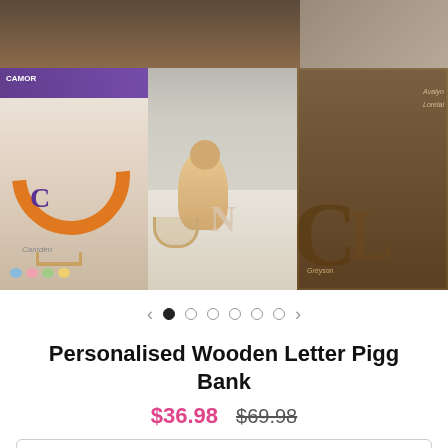[Figure (photo): Product gallery showing personalised wooden letter piggy banks. Top row shows two lifestyle photos. Bottom row left: letter C piggy bank with Camden branding and decorative eggs. Bottom row center: baby playing with a letter N wooden piggy bank on a rug. Bottom row right: multiple rustic wooden letter piggy banks labeled Avalyn, Lorelai, Greyson.]
Personalised Wooden Letter Piggy Bank
$36.98  $69.98
Style: A